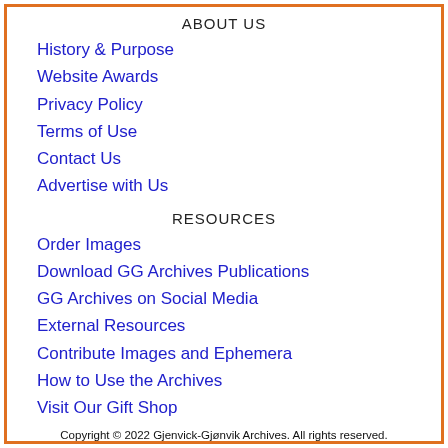ABOUT US
History & Purpose
Website Awards
Privacy Policy
Terms of Use
Contact Us
Advertise with Us
RESOURCES
Order Images
Download GG Archives Publications
GG Archives on Social Media
External Resources
Contribute Images and Ephemera
How to Use the Archives
Visit Our Gift Shop
Copyright © 2022 Gjenvick-Gjønvik Archives. All rights reserved.
See Terms of Use.